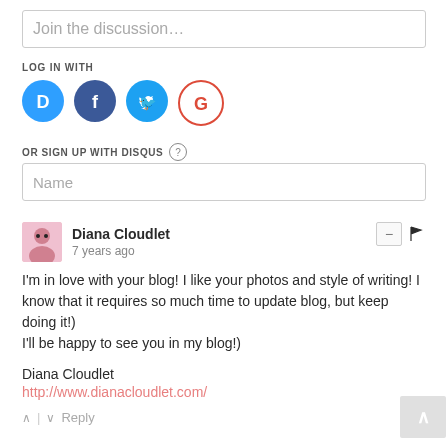Join the discussion...
LOG IN WITH
[Figure (other): Social login icons: Disqus (blue D), Facebook (dark blue f), Twitter (light blue bird), Google (red G)]
OR SIGN UP WITH DISQUS ?
Name
Diana Cloudlet
7 years ago
I'm in love with your blog! I like your photos and style of writing! I know that it requires so much time to update blog, but keep doing it!)
I'll be happy to see you in my blog!)
Diana Cloudlet
http://www.dianacloudlet.com/
Reply